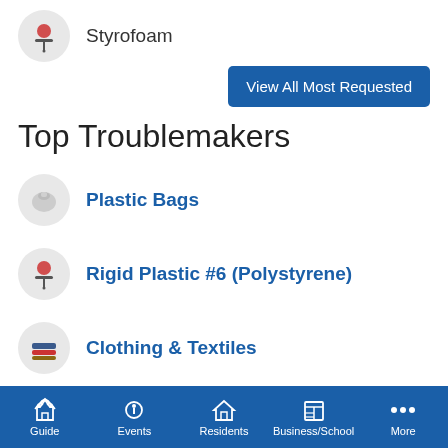Styrofoam
View All Most Requested
Top Troublemakers
Plastic Bags
Rigid Plastic #6 (Polystyrene)
Clothing & Textiles
Paper Cups
Food Scraps
Guide | Events | Residents | Business/School | More